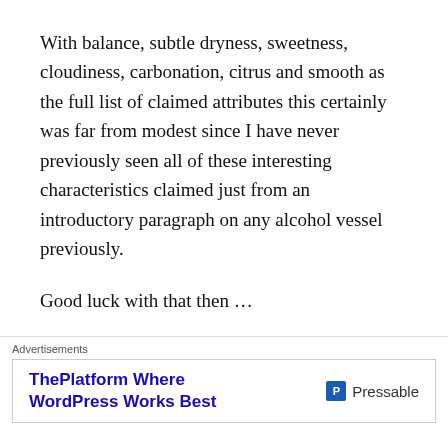With balance, subtle dryness, sweetness, cloudiness, carbonation, citrus and smooth as the full list of claimed attributes this certainly was far from modest since I have never previously seen all of these interesting characteristics claimed just from an introductory paragraph on any alcohol vessel previously.
Good luck with that then …
Smell
The smell was unfortunately of beer hinting at that typical flavour which I detest. It did however possess a slightly
Advertisements
[Figure (other): Advertisement banner for Pressable WordPress hosting with text 'ThePlatform Where WordPress Works Best' and Pressable logo]